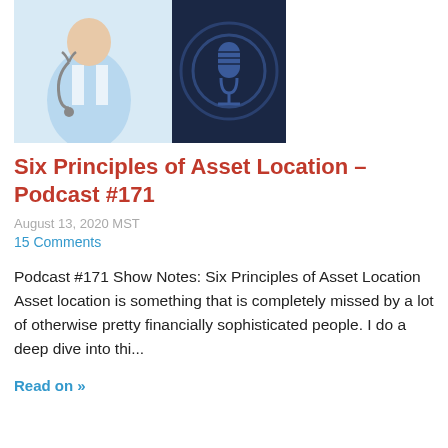[Figure (illustration): Podcast artwork showing a doctor figure in light blue on the left and a microphone icon on a dark navy background on the right]
Six Principles of Asset Location – Podcast #171
August 13, 2020 MST
15 Comments
Podcast #171 Show Notes: Six Principles of Asset Location Asset location is something that is completely missed by a lot of otherwise pretty financially sophisticated people. I do a deep dive into thi...
Read on »